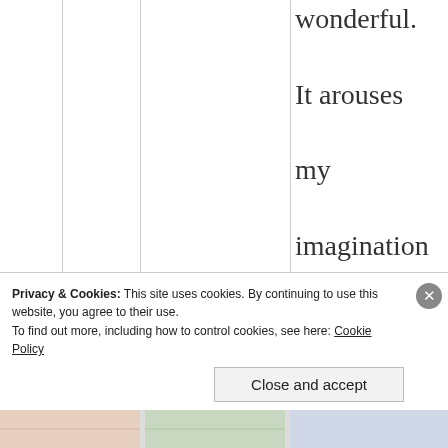wonderful. It arouses my imaginations and hopes.
Like
[Figure (photo): User avatar photo of commenter ST, circular crop showing a person in dark clothing against light background]
ST
July
Privacy & Cookies: This site uses cookies. By continuing to use this website, you agree to their use.
To find out more, including how to control cookies, see here: Cookie Policy
Close and accept